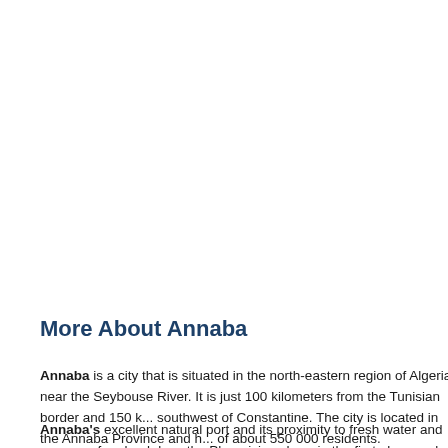More About Annaba
Annaba is a city that is situated in the north-eastern region of Algeria near the Seybouse River. It is just 100 kilometers from the Tunisian border and 150 kilometers southwest of Constantine. The city is located in the Annaba Province and has a population of about 550 000 residents.
Annaba's excellent natural port and its proximity to fresh water and some very fertile farmland drew the Phoenicians here in the first place and have ensured the...